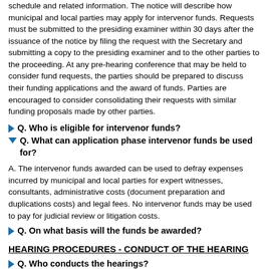schedule and related information. The notice will describe how municipal and local parties may apply for intervenor funds. Requests must be submitted to the presiding examiner within 30 days after the issuance of the notice by filing the request with the Secretary and submitting a copy to the presiding examiner and to the other parties to the proceeding. At any pre-hearing conference that may be held to consider fund requests, the parties should be prepared to discuss their funding applications and the award of funds. Parties are encouraged to consider consolidating their requests with similar funding proposals made by other parties.
Q. Who is eligible for intervenor funds?
Q. What can application phase intervenor funds be used for?
A. The intervenor funds awarded can be used to defray expenses incurred by municipal and local parties for expert witnesses, consultants, administrative costs (document preparation and duplications costs) and legal fees. No intervenor funds may be used to pay for judicial review or litigation costs.
Q. On what basis will the funds be awarded?
HEARING PROCEDURES - CONDUCT OF THE HEARING
Q. Who conducts the hearings?